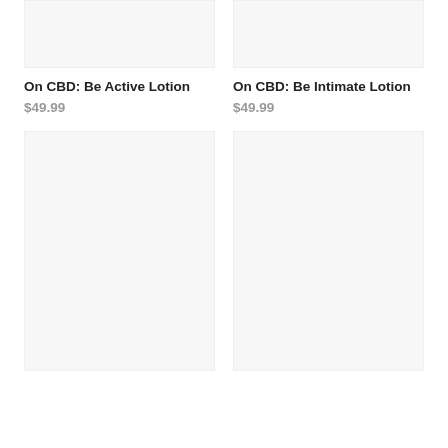[Figure (photo): Product image placeholder for On CBD: Be Active Lotion (top-left, light gray box)]
On CBD: Be Active Lotion
$49.99
[Figure (photo): Product image placeholder for On CBD: Be Intimate Lotion (top-right, light gray box)]
On CBD: Be Intimate Lotion
$49.99
[Figure (photo): Product image placeholder (bottom-left, large light gray box)]
[Figure (photo): Product image placeholder (bottom-right, large light gray box)]